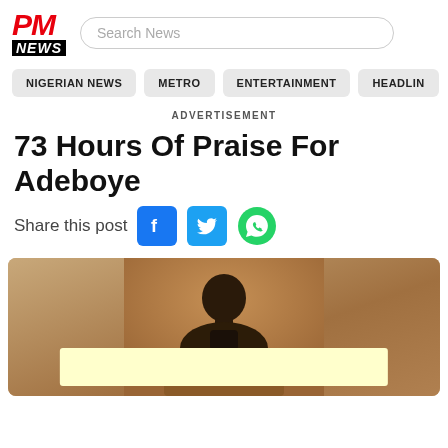[Figure (logo): PM NEWS logo - red italic PM text with black NEWS bar below]
Search News
NIGERIAN NEWS   METRO   ENTERTAINMENT   HEADLIN
ADVERTISEMENT
73 Hours Of Praise For Adeboye
Share this post
[Figure (photo): Photo of a man with head bowed, standing at a podium against a brown background, with a light yellow caption/banner box overlaid at the bottom of the image]